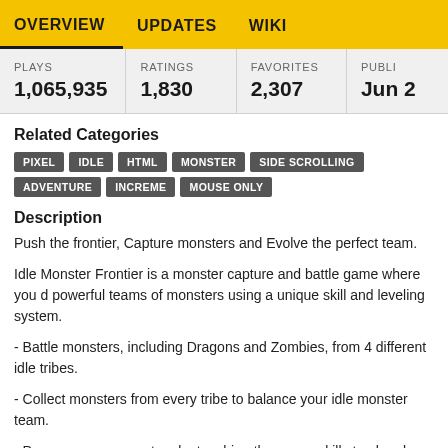OVERVIEW  UPDATES  WIKI
| PLAYS | RATINGS | FAVORITES | PUBLI... |
| --- | --- | --- | --- |
| 1,065,935 | 1,830 | 2,307 | Jun ... |
Related Categories
PIXEL  IDLE  HTML  MONSTER  SIDE SCROLLING  ADVENTURE  INCREME...  MOUSE ONLY
Description
Push the frontier, Capture monsters and Evolve the perfect team.
Idle Monster Frontier is a monster capture and battle game where you d... powerful teams of monsters using a unique skill and leveling system.
- Battle monsters, including Dragons and Zombies, from 4 different idle tribes.
- Collect monsters from every tribe to balance your idle monster team.
- Power up your monsters by teaching them new skills to absorb and de... damage.
- Build your base to enhance your abilities and cook up potions and en...